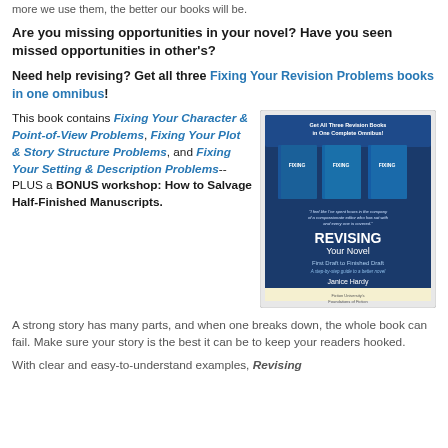more we use them, the better our books will be.
Are you missing opportunities in your novel? Have you seen missed opportunities in other's?
Need help revising? Get all three Fixing Your Revision Problems books in one omnibus!
This book contains Fixing Your Character & Point-of-View Problems, Fixing Your Plot & Story Structure Problems, and Fixing Your Setting & Description Problems--PLUS a BONUS workshop: How to Salvage Half-Finished Manuscripts.
[Figure (photo): Book cover of 'Revising Your Novel: First Draft to Finished Draft' by Janice Hardy, showing three revision books in one omnibus.]
A strong story has many parts, and when one breaks down, the whole book can fail. Make sure your story is the best it can be to keep your readers hooked.
With clear and easy-to-understand examples, Revising